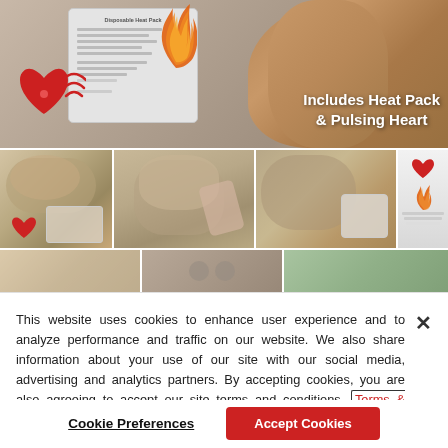[Figure (photo): Main product photo showing a disposable heat pack bag, red heart-shaped pulsing device with WiFi waves, and teddy bears in background. Text overlay reads 'Includes Heat Pack & Pulsing Heart']
[Figure (photo): Thumbnail 1: puppy sleeping with heat pack and red heart device]
[Figure (photo): Thumbnail 2: hands inserting heat pack into stuffed animal]
[Figure (photo): Thumbnail 3: person holding heat pack with stuffed animal]
[Figure (photo): Thumbnail 4: product packaging showing heart and flame graphics with text lines]
[Figure (photo): Partial thumbnail row showing three partial images]
This website uses cookies to enhance user experience and to analyze performance and traffic on our website. We also share information about your use of our site with our social media, advertising and analytics partners. By accepting cookies, you are also agreeing to accept our site terms and conditions. Terms & Conditions
Cookie Preferences
Accept Cookies